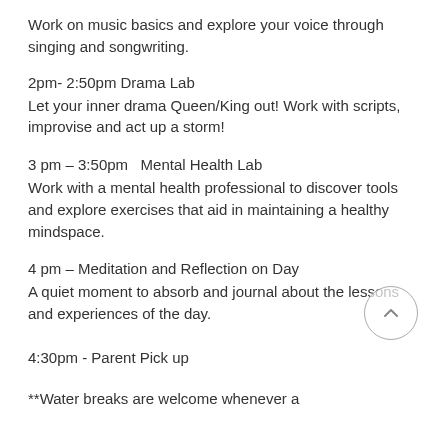Work on music basics and explore your voice through singing and songwriting.
2pm- 2:50pm Drama Lab
Let your inner drama Queen/King out! Work with scripts, improvise and act up a storm!
3 pm – 3:50pm  Mental Health Lab
Work with a mental health professional to discover tools and explore exercises that aid in maintaining a healthy mindspace.
4 pm – Meditation and Reflection on Day
A quiet moment to absorb and journal about the lessons and experiences of the day.
4:30pm - Parent Pick up
**Water breaks are welcome whenever a